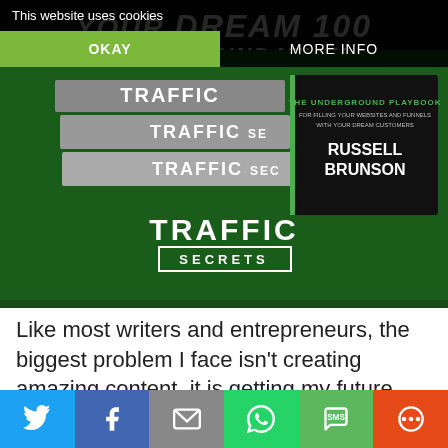This website uses cookies
OKAY
MORE INFO
[Figure (photo): Traffic Secrets book by Russell Brunson displayed on green background with stacked books showing 'TRAFFIC SECRETS - THE UNDERGROUND PLAYBOOK FOR FILLING YOUR WEBSITES AND FUNNELS WITH YOUR DREAM CUSTOMERS' by Russell Brunson. Hero banner text: YOUR DREAM 100 IS THE FOUNDATION.]
Like most writers and entrepreneurs, the biggest problem I face isn't creating amazing content, it is getting my future readers to find me. Every year, businesses and blogs start and then fail